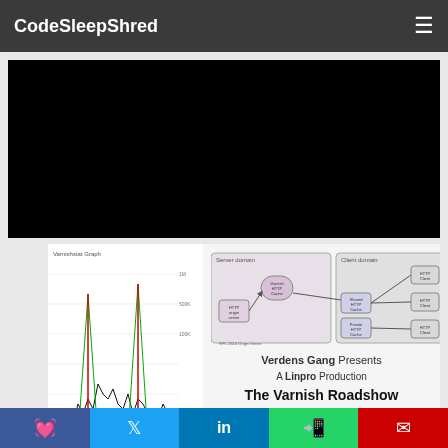CodeSleepShred
[Figure (screenshot): Black video player area]
[Figure (other): Varnish HTTP performance graph rotated with title 'The Varnish Roadshow' on left side showing time-series data]
[Figure (network-graph): Network diagram showing Server domain with HTTP origin server and Varnish HTTP Cache connected to Client domain with Shared HTTP Cache, Private HTTP Cache, HTTP Client nodes. RFC 2616 Origin Server label at bottom.]
Verdens Gang Presents
A Linpro Production
The Varnish Roadshow
starring
The Varnish HTTP accelerator
Designed and coded by: Poul-Henning Kamp
Project infrastructure: Dag-Erling Smørgrav
Based on an idea by: Anders Berg
f  twitter  in  whatsapp  email